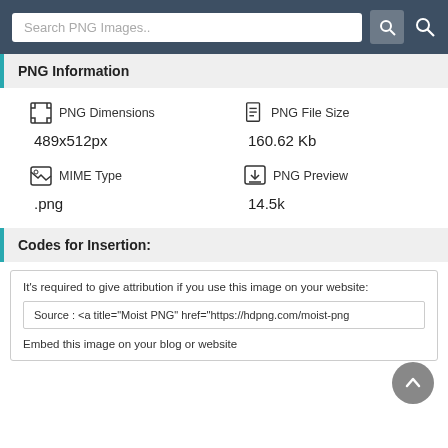Search PNG Images..
PNG Information
PNG Dimensions: 489x512px
PNG File Size: 160.62 Kb
MIME Type: .png
PNG Preview: 14.5k
Codes for Insertion:
It's required to give attribution if you use this image on your website:
Source : <a title="Moist PNG" href="https://hdpng.com/moist-png
Embed this image on your blog or website